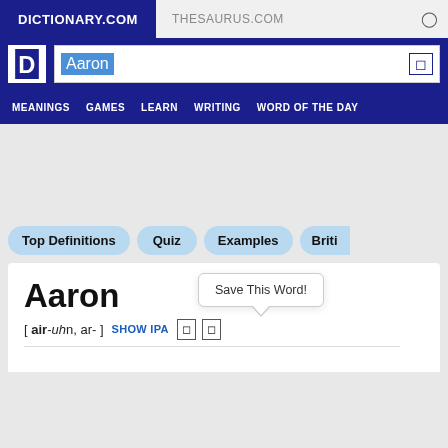DICTIONARY.COM    THESAURUS.COM
[Figure (screenshot): Dictionary.com logo and search bar with 'Aaron' typed in the search field]
MEANINGS   GAMES   LEARN   WRITING   WORD OF THE DAY
Top Definitions
Quiz
Examples
Briti
Aaron
[ air-uhn, ar- ]  SHOW IPA
Save This Word!